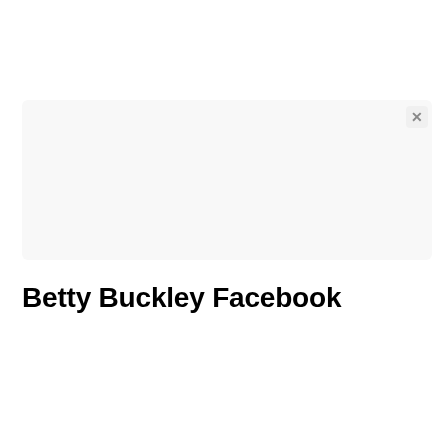[Figure (screenshot): A light gray empty screenshot/image placeholder box with a close (×) button in the top-right corner.]
Betty Buckley Facebook